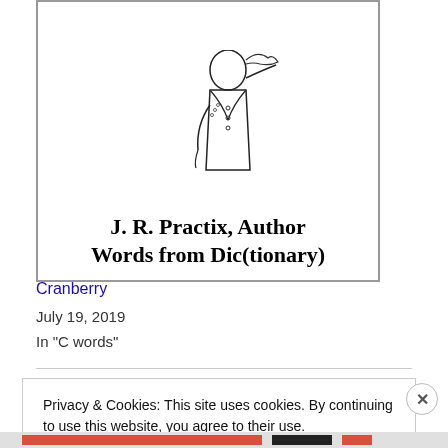[Figure (illustration): Book cover illustration showing a figure in colonial-era clothing, with text 'J. R. Practix, Author Words from Dic(tionary)']
Cranberry
July 19, 2019
In "C words"
Privacy & Cookies: This site uses cookies. By continuing to use this website, you agree to their use.
To find out more, including how to control cookies, see here: Cookie Policy
Close and accept